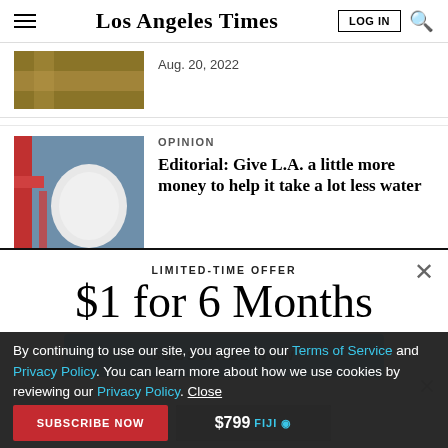Los Angeles Times
Aug. 20, 2022
OPINION
Editorial: Give L.A. a little more money to help it take a lot less water
LIMITED-TIME OFFER
$1 for 6 Months
SUBSCRIBE NOW
By continuing to use our site, you agree to our Terms of Service and Privacy Policy. You can learn more about how we use cookies by reviewing our Privacy Policy. Close